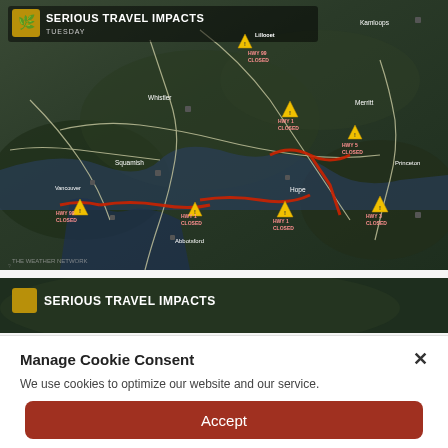[Figure (map): A 3D terrain map of British Columbia, Canada showing serious travel impacts on Tuesday. Multiple highway closure warnings are shown with yellow triangle icons. Red lines mark closed highway routes including HWY 99 CLOSED, HWY 1 CLOSED (multiple locations), HWY 5 CLOSED, HWY 3 CLOSED, HWY 11 CLOSED. Locations labeled include Lillooet, Kamloops, Whistler, Merritt, Squamish, Princeton, Hope, Vancouver/Abbotsford area, and others. THE WEATHER NETWORK watermark in bottom left.]
[Figure (screenshot): Partial view of a second identical map image showing SERIOUS TRAVEL IMPACTS text, partially obscured by a cookie consent overlay.]
Manage Cookie Consent
We use cookies to optimize our website and our service.
Accept